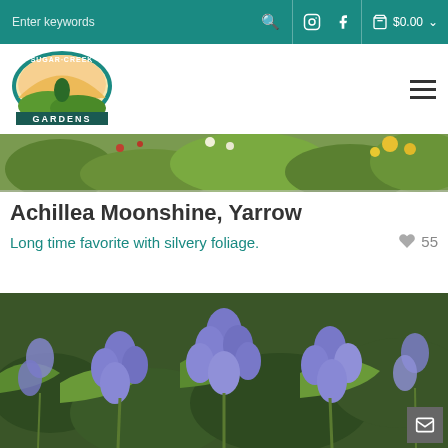Sugar Creek Gardens website header with search bar, social icons, and cart showing $0.00
[Figure (logo): Sugar Creek Gardens circular logo with dinosaur/heron and garden imagery, teal border with GARDENS text]
[Figure (photo): Top garden photo banner showing colorful plants and yellow flowers]
Achillea Moonshine, Yarrow
Long time favorite with silvery foliage.
55
[Figure (photo): Close-up photo of purple/blue Aconitum (Monkshood) flowers with green fern foliage background]